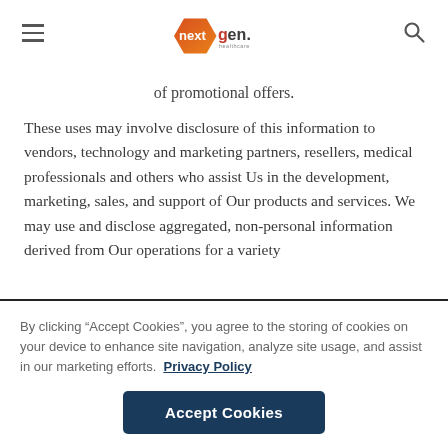nextgen healthcare
of promotional offers.
These uses may involve disclosure of this information to vendors, technology and marketing partners, resellers, medical professionals and others who assist Us in the development, marketing, sales, and support of Our products and services. We may use and disclose aggregated, non-personal information derived from Our operations for a variety
By clicking “Accept Cookies”, you agree to the storing of cookies on your device to enhance site navigation, analyze site usage, and assist in our marketing efforts.  Privacy Policy
Accept Cookies